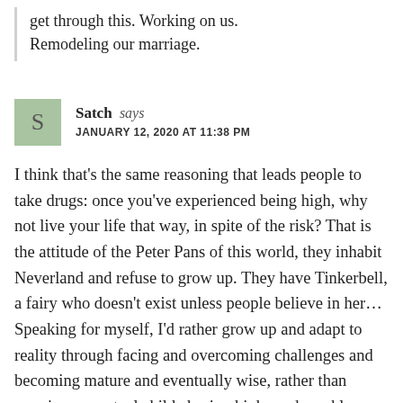get through this. Working on us. Remodeling our marriage.
Satch says JANUARY 12, 2020 AT 11:38 PM
I think that's the same reasoning that leads people to take drugs: once you've experienced being high, why not live your life that way, in spite of the risk? That is the attitude of the Peter Pans of this world, they inhabit Neverland and refuse to grow up. They have Tinkerbell, a fairy who doesn't exist unless people believe in her… Speaking for myself, I'd rather grow up and adapt to reality through facing and overcoming challenges and becoming mature and eventually wise, rather than remain a perpetual child chasing highs and sparkles. There certainly are